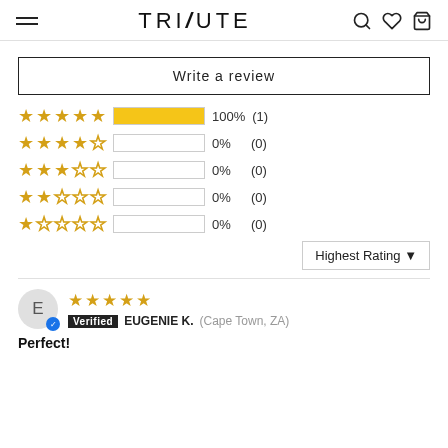TRIBUTE navigation header
Write a review
[Figure (bar-chart): Star rating distribution]
Highest Rating ▼
E
★★★★★
Verified EUGENIE K. (Cape Town, ZA)
Perfect!